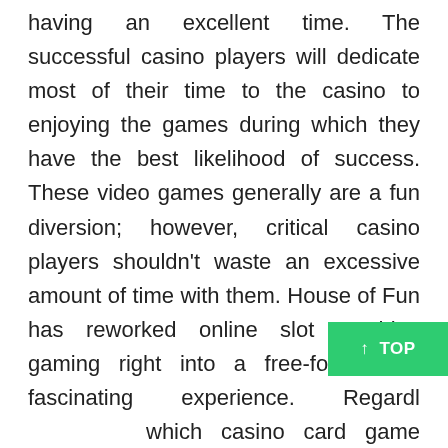having an excellent time. The successful casino players will dedicate most of their time to the casino to enjoying the games during which they have the best likelihood of success. These video games generally are a fun diversion; however, critical casino players shouldn't waste an excessive amount of time with them. House of Fun has reworked online slot machine gaming right into a free-for-all and fascinating experience. Regardless which casino card game you select, the point is to have enjoyable. Baccarat is one other casino card game that's essential for players to know. For players who want to have the